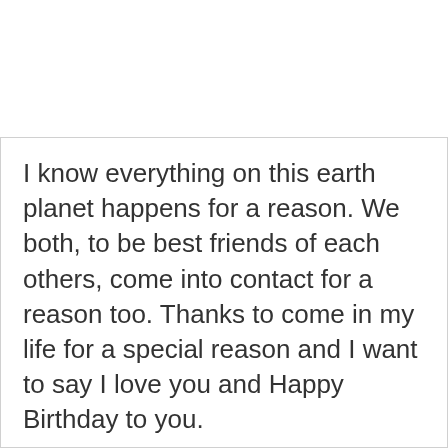I know everything on this earth planet happens for a reason. We both, to be best friends of each others, come into contact for a reason too. Thanks to come in my life for a special reason and I want to say I love you and Happy Birthday to you.